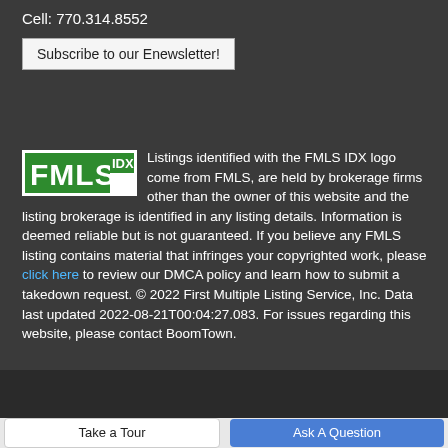Cell: 770.314.8552
Subscribe to our Enewsletter!
[Figure (logo): FMLS IDX logo — green and white rectangular logo with FMLS in bold green letters and IDX superscript in green on white background]
Listings identified with the FMLS IDX logo come from FMLS, are held by brokerage firms other than the owner of this website and the listing brokerage is identified in any listing details. Information is deemed reliable but is not guaranteed. If you believe any FMLS listing contains material that infringes your copyrighted work, please click here to review our DMCA policy and learn how to submit a takedown request. © 2022 First Multiple Listing Service, Inc. Data last updated 2022-08-21T00:04:27.083. For issues regarding this website, please contact BoomTown.
BoomTown! © 2022
Take a Tour
Ask A Question